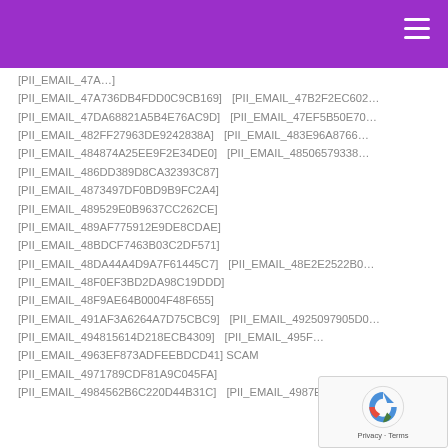[PII_EMAIL_47A736DB4FDD0C9CB169]
[PII_EMAIL_47B2F2EC602...
[PII_EMAIL_47DA68821A5B4E76AC9D]
[PII_EMAIL_47EF5B50E70...
[PII_EMAIL_482FF27963DE9242838A]
[PII_EMAIL_483E96A8766...
[PII_EMAIL_484874A25EE9F2E34DE0]
[PII_EMAIL_48506579338...
[PII_EMAIL_486DD389D8CA32393C87]
[PII_EMAIL_4873497DF0BD9B9FC2A4]
[PII_EMAIL_489529E0B9637CC262CE]
[PII_EMAIL_489AF775912E9DE8CDAE]
[PII_EMAIL_48BDCF7463B03C2DF571]
[PII_EMAIL_48DA44A4D9A7F61445C7]
[PII_EMAIL_48E2E2522B0...
[PII_EMAIL_48F0EF3BD2DA98C19DDD]
[PII_EMAIL_48F9AE64B0004F48F655]
[PII_EMAIL_491AF3A6264A7D75CBC9]
[PII_EMAIL_4925097905D0...
[PII_EMAIL_494815614D218ECB4309]
[PII_EMAIL_495F...
[PII_EMAIL_4963EF873ADFEEBDCD41] SCAM
[PII_EMAIL_4971789CDF81A9C045FA]
[PII_EMAIL_4984562B6C220D44B31C]
[PII_EMAIL_4987E1135...